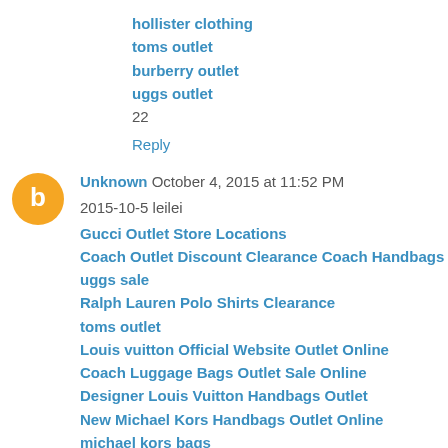hollister clothing
toms outlet
burberry outlet
uggs outlet
22
Reply
Unknown  October 4, 2015 at 11:52 PM
2015-10-5 leilei
Gucci Outlet Store Locations
Coach Outlet Discount Clearance Coach Handbags
uggs sale
Ralph Lauren Polo Shirts Clearance
toms outlet
Louis vuitton Official Website Outlet Online
Coach Luggage Bags Outlet Sale Online
Designer Louis Vuitton Handbags Outlet
New Michael Kors Handbags Outlet Online
michael kors bags
canada goose